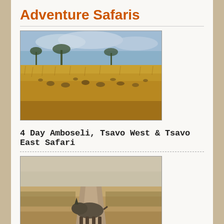Adventure Safaris
[Figure (photo): Safari savanna landscape with wildebeest/animals grazing in tall golden grass under a cloudy sky with acacia trees in the background]
4 Day Amboseli, Tsavo West & Tsavo East Safari
[Figure (photo): A rhinoceros crossing a dirt road in arid savanna landscape]
4 Day Sweetwaters - Samburu Tour
[Figure (photo): A herd of elephants gathered near a structure in a green forested area]